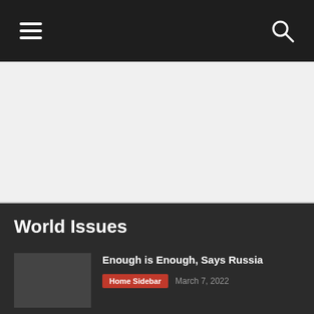Navigation header with hamburger menu and search icon
[Figure (other): Advertisement area - grey banner placeholder]
World Issues
Enough is Enough, Says Russia
Home Sidebar  March 7, 2022
New World Order Desperate as Plan Falls Apart – Martin Armstrong